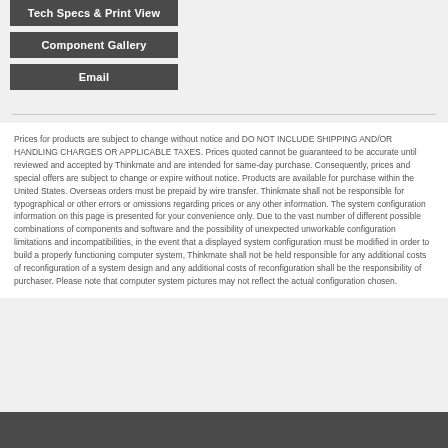Tech Specs & Print View
Component Gallery
Email
Prices for products are subject to change without notice and DO NOT INCLUDE SHIPPING AND/OR HANDLING CHARGES OR APPLICABLE TAXES. Prices quoted cannot be guaranteed to be accurate until reviewed and accepted by Thinkmate and are intended for same-day purchase. Consequently, prices and special offers are subject to change or expire without notice. Products are available for purchase within the United States. Overseas orders must be prepaid by wire transfer. Thinkmate shall not be responsible for typographical or other errors or omissions regarding prices or any other information. The system configuration information on this page is presented for your convenience only. Due to the vast number of different possible combinations of components and software and the possibility of unexpected unworkable configuration limitations and incompatibilities, in the event that a displayed system configuration must be modified in order to build a properly functioning computer system, Thinkmate shall not be held responsible for any additional costs of reconfiguration of a system design and any additional costs of reconfiguration shall be the responsibility of purchaser. Please note that computer system pictures may not reflect the actual configuration chosen.